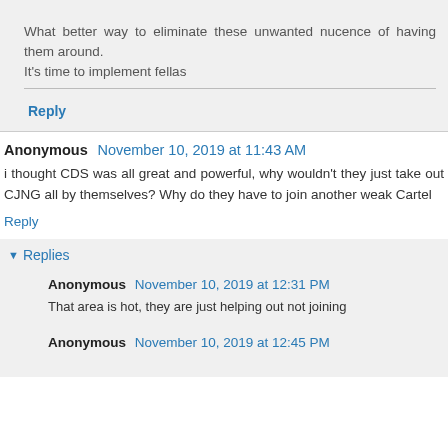What better way to eliminate these unwanted nucence of having them around.
It's time to implement fellas
Reply
Anonymous  November 10, 2019 at 11:43 AM
i thought CDS was all great and powerful, why wouldn't they just take out CJNG all by themselves? Why do they have to join another weak Cartel
Reply
Replies
Anonymous  November 10, 2019 at 12:31 PM
That area is hot, they are just helping out not joining
Anonymous  November 10, 2019 at 12:45 PM